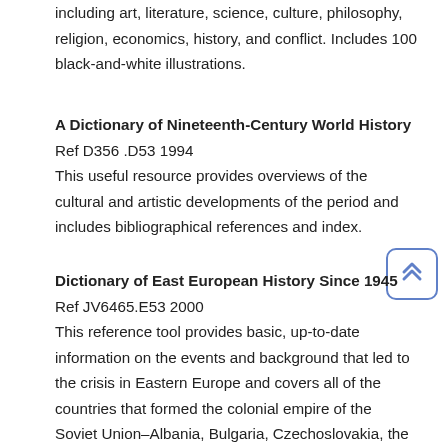including art, literature, science, culture, philosophy, religion, economics, history, and conflict. Includes 100 black-and-white illustrations.
A Dictionary of Nineteenth-Century World History Ref D356 .D53 1994
This useful resource provides overviews of the cultural and artistic developments of the period and includes bibliographical references and index.
Dictionary of East European History Since 1945 Ref JV6465.E53 2000
This reference tool provides basic, up-to-date information on the events and background that led to the crisis in Eastern Europe and covers all of the countries that formed the colonial empire of the Soviet Union–Albania, Bulgaria, Czechoslovakia, the German Democratic Republic (East Germany), Hungary, Poland, Romania, and former Yugoslavia. The volume includes helpful maps and photographs of key figures and scenes of everyday life.
Larousse Dictionary of World History Ref D9 .L33 1994
This is a single-volume comprehensive dictionary of world history...